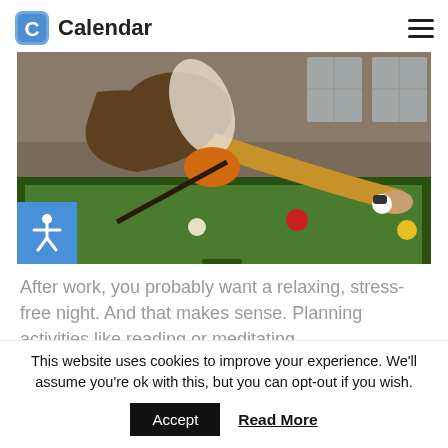Calendar
[Figure (photo): Person leaning over a green pool/snooker table, reaching to place or move a billiard ball. Several coloured balls visible on the table. Industrial style background.]
After work, you probably want a relaxing, stress-free night. And that makes sense. Planning activities like reading or meditating
This website uses cookies to improve your experience. We'll assume you're ok with this, but you can opt-out if you wish.
Accept  Read More